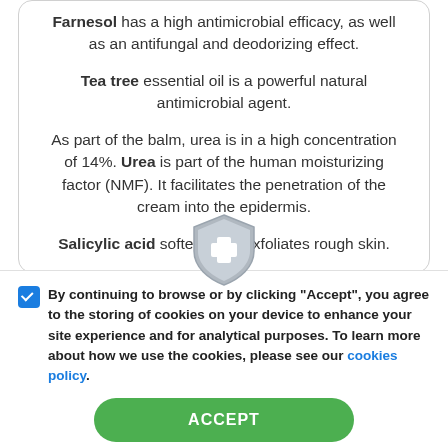Farnesol has a high antimicrobial efficacy, as well as an antifungal and deodorizing effect.
Tea tree essential oil is a powerful natural antimicrobial agent.
As part of the balm, urea is in a high concentration of 14%. Urea is part of the human moisturizing factor (NMF). It facilitates the penetration of the cream into the epidermis.
Salicylic acid softens and exfoliates rough skin.
[Figure (illustration): Gray shield icon with a white plus sign in the center]
By continuing to browse or by clicking "Accept", you agree to the storing of cookies on your device to enhance your site experience and for analytical purposes. To learn more about how we use the cookies, please see our cookies policy.
ACCEPT